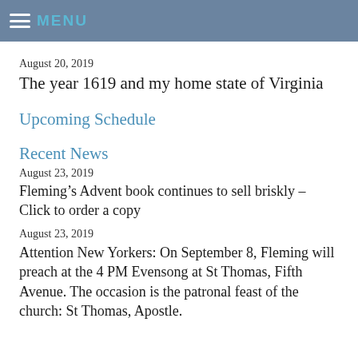MENU
August 20, 2019
The year 1619 and my home state of Virginia
Upcoming Schedule
Recent News
August 23, 2019
Fleming’s Advent book continues to sell briskly – Click to order a copy
August 23, 2019
Attention New Yorkers: On September 8, Fleming will preach at the 4 PM Evensong at St Thomas, Fifth Avenue. The occasion is the patronal feast of the church: St Thomas, Apostle.